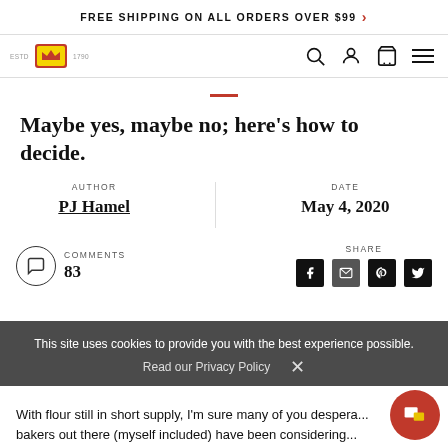FREE SHIPPING ON ALL ORDERS OVER $99 >
[Figure (logo): King Arthur brand logo with badge and ESTD text]
Maybe yes, maybe no; here's how to decide.
AUTHOR
PJ Hamel
DATE
May 4, 2020
COMMENTS
83
SHARE
This site uses cookies to provide you with the best experience possible.
Read our Privacy Policy  X
With flour still in short supply, I'm sure many of you despera...
bakers out there (myself included) have been considering...